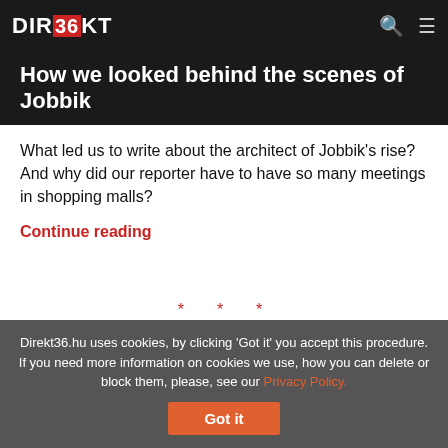DIREKT36
How we looked behind the scenes of Jobbik
What led us to write about the architect of Jobbik's rise? And why did our reporter have to have so many meetings in shopping malls?
Continue reading
* * *
[Figure (photo): Sky with clouds, blue and purple tones]
Direkt36.hu uses cookies, by clicking 'Got it' you accept this procedure. If you need more information on cookies we use, how you can delete or block them, please, see our Privacy Policy.
Got it